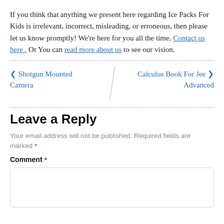If you think that anything we present here regarding Ice Packs For Kids is irrelevant, incorrect, misleading, or erroneous, then please let us know promptly! We're here for you all the time. Contact us here . Or You can read more about us to see our vision.
< Shotgun Mounted Camera | Calculus Book For Jee >  Advanced
Leave a Reply
Your email address will not be published. Required fields are marked *
Comment *